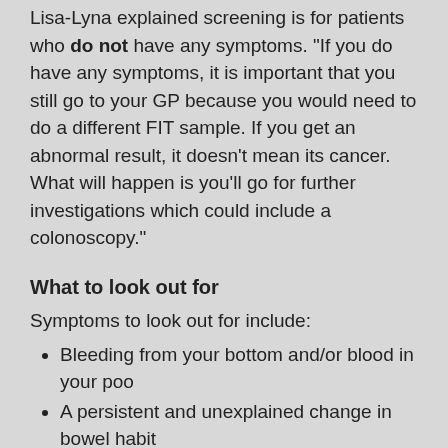Lisa-Lyna explained screening is for patients who do not have any symptoms. “If you do have any symptoms, it is important that you still go to your GP because you would need to do a different FIT sample. If you get an abnormal result, it doesn’t mean its cancer. What will happen is you’ll go for further investigations which could include a colonoscopy.”
What to look out for
Symptoms to look out for include:
Bleeding from your bottom and/or blood in your poo
A persistent and unexplained change in bowel habit
Unexplained weight loss
Extreme tiredness for no obvious reason
A pain or lump in your tummy.